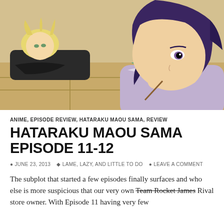[Figure (illustration): Anime screenshot showing two characters: a blonde character lying down in the background wearing dark clothing, and a dark purple-haired character in the foreground resting chin on hand, wearing a light purple outfit, in what appears to be a Japanese-style room with tatami mats and a green bowl visible.]
ANIME, EPISODE REVIEW, HATARAKU MAOU SAMA, REVIEW
HATARAKU MAOU SAMA EPISODE 11-12
JUNE 23, 2013  LAME, LAZY, AND LITTLE TO DO  LEAVE A COMMENT
The subplot that started a few episodes finally surfaces and who else is more suspicious that our very own Team Rocket James Rival store owner. With Episode 11 having very few